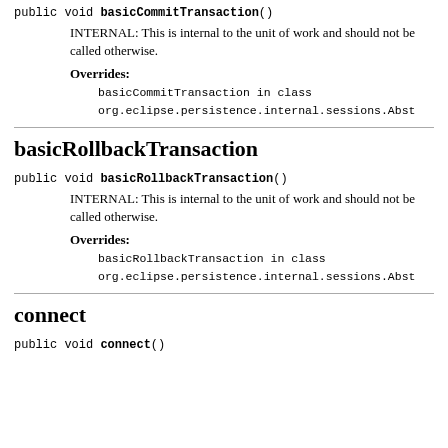public void basicCommitTransaction()
INTERNAL: This is internal to the unit of work and should not be called otherwise.
Overrides:
basicCommitTransaction in class org.eclipse.persistence.internal.sessions.Abst
basicRollbackTransaction
public void basicRollbackTransaction()
INTERNAL: This is internal to the unit of work and should not be called otherwise.
Overrides:
basicRollbackTransaction in class org.eclipse.persistence.internal.sessions.Abst
connect
public void connect()